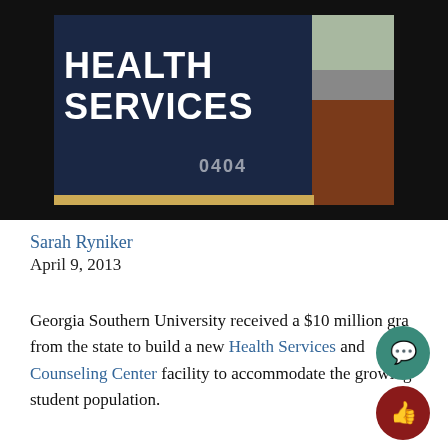[Figure (photo): Photograph of a Health Services sign — a dark navy blue sign with white bold text reading 'HEALTH SERVICES' and the number '0404' at lower center, with outdoor landscaping (mulch, grass, road) visible to the right, set against a black background.]
Sarah Ryniker
April 9, 2013
Georgia Southern University received a $10 million grant from the state to build a new Health Services and Counseling Center facility to accommodate the growing student population.